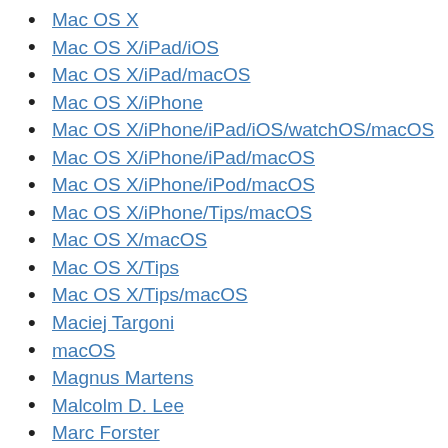Mac OS X
Mac OS X/iPad/iOS
Mac OS X/iPad/macOS
Mac OS X/iPhone
Mac OS X/iPhone/iPad/iOS/watchOS/macOS
Mac OS X/iPhone/iPad/macOS
Mac OS X/iPhone/iPod/macOS
Mac OS X/iPhone/Tips/macOS
Mac OS X/macOS
Mac OS X/Tips
Mac OS X/Tips/macOS
Maciej Targoni
macOS
Magnus Martens
Malcolm D. Lee
Marc Forster
Marc Meyers
Marc Munden
Marco Pontecorvo